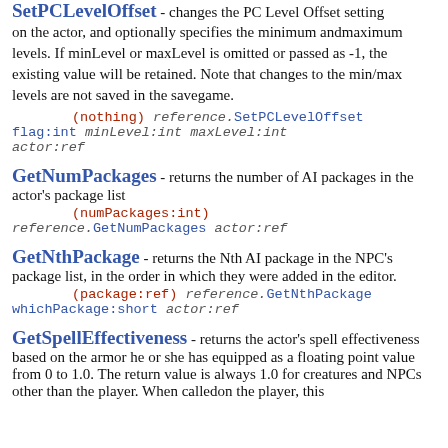changes the PC Level Offset setting on the actor, and optionally specifies the minimum and maximum levels. If minLevel or maxLevel is omitted or passed as -1, the existing value will be retained. Note that changes to the min/max levels are not saved in the savegame.
GetNumPackages
- returns the number of AI packages in the actor's package list
GetNthPackage
- returns the Nth AI package in the NPC's package list, in the order in which they were added in the editor.
GetSpellEffectiveness
- returns the actor's spell effectiveness based on the armor he or she has equipped as a floating point value from 0 to 1.0. The return value is always 1.0 for creatures and NPCs other than the player. When calledon the player, this